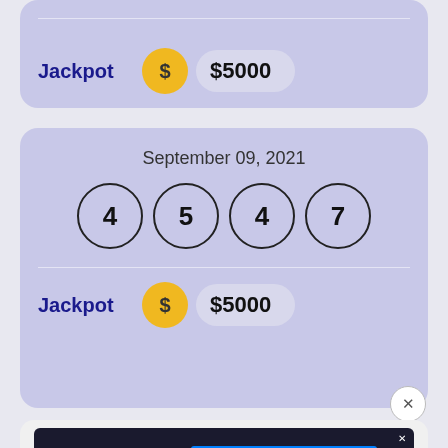[Figure (infographic): Partial lottery ticket card at top showing Jackpot label with gold coin and $5000 amount]
[Figure (infographic): Lottery result card for September 09, 2021 showing drawn numbers 4, 5, 4, 7 and Jackpot of $5000]
[Figure (infographic): Disney Bundle advertisement banner with Hulu, Disney+, ESPN+ logos and GET THE DISNEY BUNDLE call to action]
[Figure (infographic): Partial bottom lottery card showing tops of number balls 7, 5 and more]